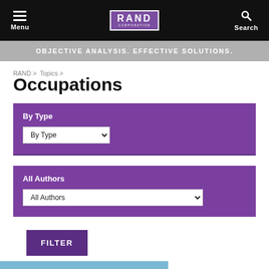Menu | RAND CORPORATION | Search
OBJECTIVE ANALYSIS. EFFECTIVE SOLUTIONS.
RAND > Topics >
Occupations
By Type
By Type [dropdown]
All Authors
All Authors [dropdown]
FILTER